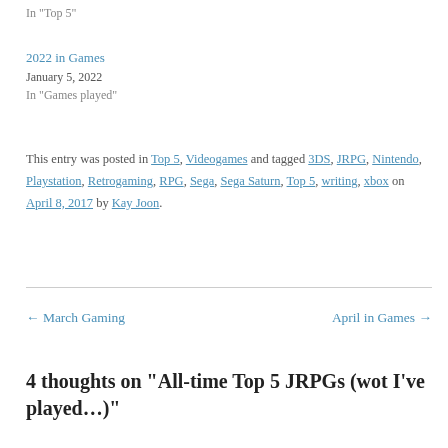In "Top 5"
2022 in Games
January 5, 2022
In "Games played"
This entry was posted in Top 5, Videogames and tagged 3DS, JRPG, Nintendo, Playstation, Retrogaming, RPG, Sega, Sega Saturn, Top 5, writing, xbox on April 8, 2017 by Kay Joon.
← March Gaming
April in Games →
4 thoughts on “All-time Top 5 JRPGs (wot I’ve played…)”